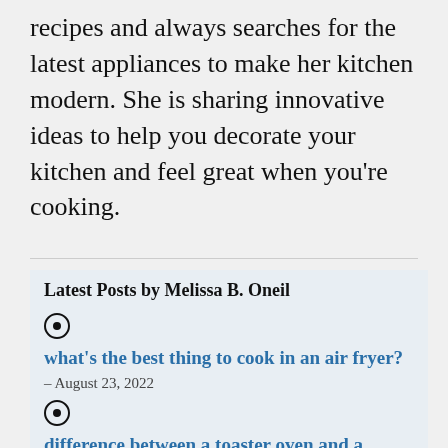recipes and always searches for the latest appliances to make her kitchen modern. She is sharing innovative ideas to help you decorate your kitchen and feel great when you're cooking.
Latest Posts by Melissa B. Oneil
what's the best thing to cook in an air fryer? – August 23, 2022
difference between a toaster oven and a countertop air fryer